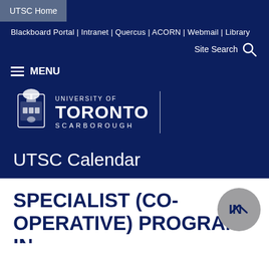UTSC Home
Blackboard Portal | Intranet | Quercus | ACORN | Webmail | Library
Site Search
≡ MENU
[Figure (logo): University of Toronto Scarborough crest and wordmark logo in white on dark blue background]
UTSC Calendar
SPECIALIST (CO-OPERATIVE) PROGRAM IN MANAGEMENT AND MARKETING (BACHELOR OF...